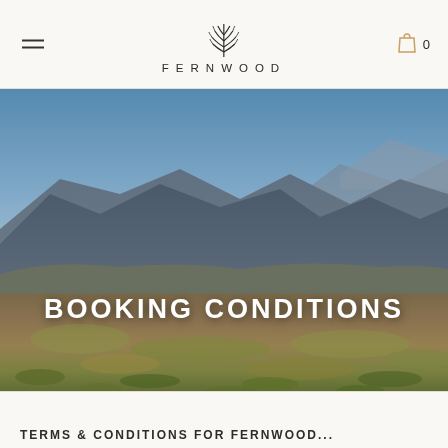FERNWOOD
[Figure (photo): Landscape photograph of rugged moorland with mountains in the background under a dramatic cloudy sky. Text overlay reads BOOKING CONDITIONS.]
BOOKING CONDITIONS
TERMS & CONDITIONS FOR FERNWOOD...